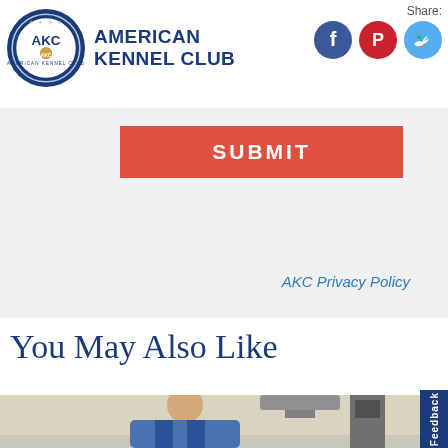American Kennel Club
Share:
[Figure (logo): American Kennel Club circular seal logo with AKC text]
[Figure (infographic): Social media share icons: Facebook (blue), Pinterest (red), Twitter (light blue)]
[Figure (other): Red SUBMIT button on gray background form section]
AKC Privacy Policy
You May Also Like
[Figure (photo): A man in a blue protective vest/apron in a medical or veterinary setting, possibly with X-ray equipment]
Feedback